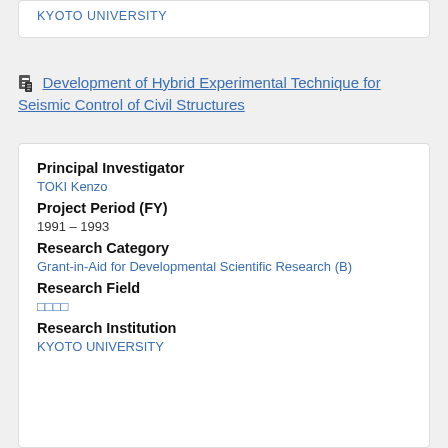KYOTO UNIVERSITY
Development of Hybrid Experimental Technique for Seismic Control of Civil Structures
Principal Investigator
TOKI Kenzo
Project Period (FY)
1991 – 1993
Research Category
Grant-in-Aid for Developmental Scientific Research (B)
Research Field
□□□□
Research Institution
KYOTO UNIVERSITY